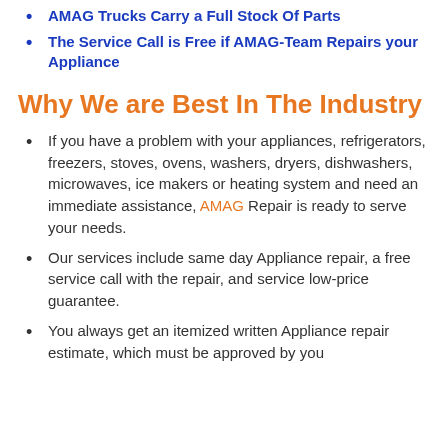AMAG Trucks Carry a Full Stock Of Parts
The Service Call is Free if AMAG-Team Repairs your Appliance
Why We are Best In The Industry
If you have a problem with your appliances, refrigerators, freezers, stoves, ovens, washers, dryers, dishwashers, microwaves, ice makers or heating system and need an immediate assistance, AMAG Repair is ready to serve your needs.
Our services include same day Appliance repair, a free service call with the repair, and service low-price guarantee.
You always get an itemized written Appliance repair estimate, which must be approved by you